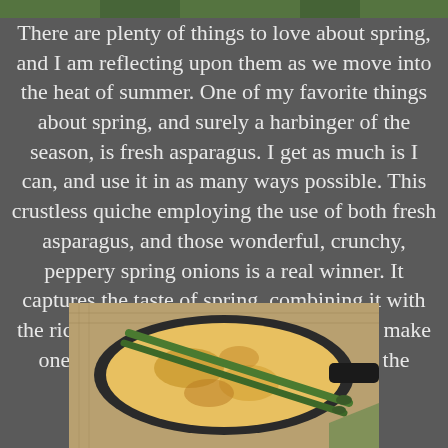[Figure (photo): Partial photo at top of page, appears to show greenery or food]
There are plenty of things to love about spring, and I am reflecting upon them as we move into the heat of summer. One of my favorite things about spring, and surely a harbinger of the season, is fresh asparagus. I get as much is I can, and use it in as many ways possible. This crustless quiche employing the use of both fresh asparagus, and those wonderful, crunchy, peppery spring onions is a real winner. It captures the taste of spring, combining it with the richness of three flavorful cheeses, to make one wonderful reason for getting up in the morning.
[Figure (photo): Photo of a crustless quiche in a dark skillet with asparagus spears laid across it, on a burlap background]